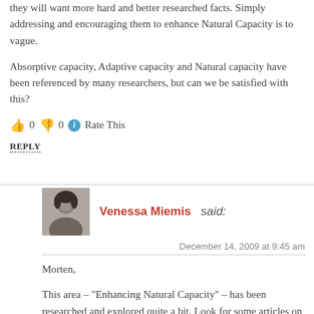they will want more hard and better researched facts. Simply addressing and encouraging them to enhance Natural Capacity is to vague.
Absorptive capacity, Adaptive capacity and Natural capacity have been referenced by many researchers, but can we be satisfied with this?
👍 0 👎 0 ℹ Rate This
REPLY
Venessa Miemis said:
December 14, 2009 at 9:45 am
Morten,
This area – "Enhancing Natural Capacity" – has been researched and explored quite a bit. Look for some articles on innovation, and you'll see a lot of the same guidelines – fail often, fail fast, assemble dynamic teams, etc – all alluding to the notion that you have to be flexible and adaptable in